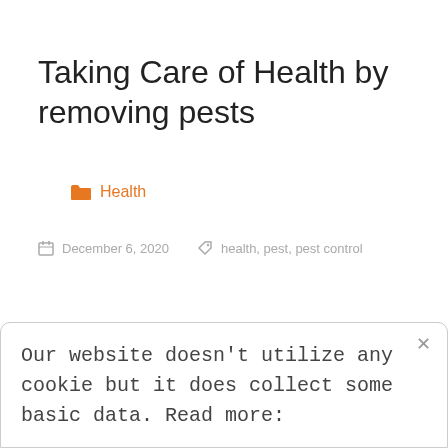Taking Care of Health by removing pests
Health
December 6, 2020   health, pest, pest control
Our website doesn't utilize any cookie but it does collect some basic data. Read more: